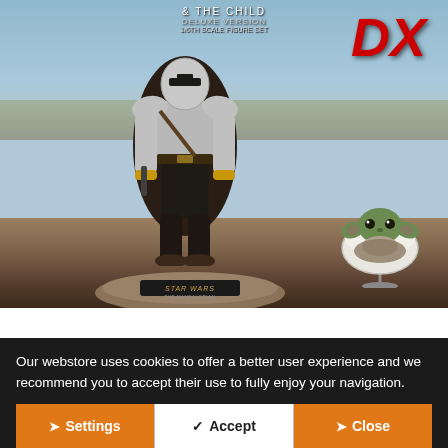[Figure (photo): Product photo of Hot Toys Star Wars The Mandalorian and The Child (Baby Yoda) Deluxe Version DX action figure set. The Mandalorian stands in beskar armor with a full-figure pose on a Star Wars branded base. The Child sits in a floating pram pod beside him. Background shows a desert landscape with sky.]
Our webstore uses cookies to offer a better user experience and we recommend you to accept their use to fully enjoy your navigation.